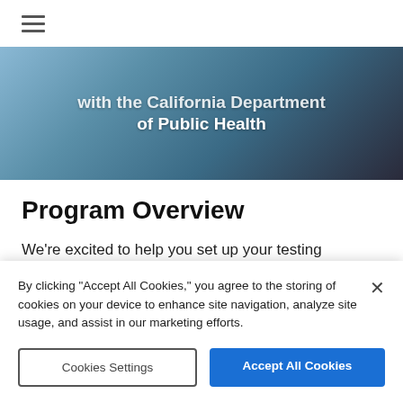≡
[Figure (photo): Hero banner image with blurred background showing text overlay: 'with the California Department of Public Health']
Program Overview
We're excited to help you set up your testing program to keep your community safe.
By clicking "Accept All Cookies," you agree to the storing of cookies on your device to enhance site navigation, analyze site usage, and assist in our marketing efforts.
Cookies Settings | Accept All Cookies